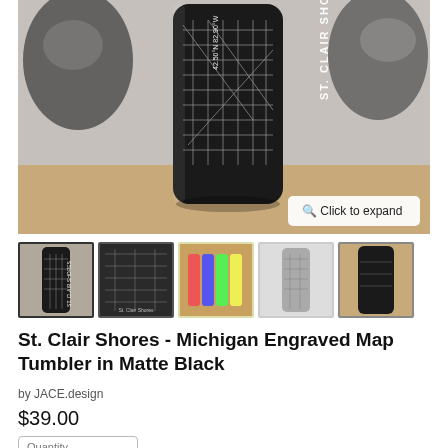[Figure (photo): Black matte tumbler/water bottle with engraved city map of St. Clair Shores, Michigan, sitting on a wooden surface. The bottle shows white engraved street map and text 'ST. CLAIR SHORES' and coordinates '42.50°N 82.90°W'. Background shows a black and white mural.]
[Figure (photo): Thumbnail 1: Close-up of black tumbler with engraved map, active/selected state]
[Figure (photo): Thumbnail 2: Close-up detail of the engraved map on black surface]
[Figure (photo): Thumbnail 3: Multiple colored tumblers lined up]
[Figure (photo): Thumbnail 4: White/silver tumbler with engraved map]
[Figure (photo): Thumbnail 5: Partial view of black tumbler on a surface]
St. Clair Shores - Michigan Engraved Map Tumbler in Matte Black
by JACE.design
$39.00
Quantity